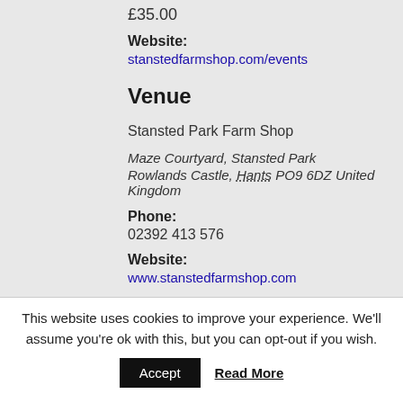£35.00
Website:
stanstedfarmshop.com/events
Venue
Stansted Park Farm Shop
Maze Courtyard, Stansted Park
Rowlands Castle, Hants PO9 6DZ United Kingdom
Phone:
02392 413 576
Website:
www.stanstedfarmshop.com
This website uses cookies to improve your experience. We'll assume you're ok with this, but you can opt-out if you wish.
Accept
Read More